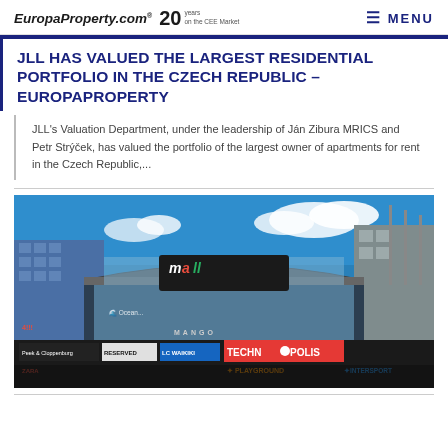EuropaProperty.com® 20 years on the CEE Market  MENU
JLL HAS VALUED THE LARGEST RESIDENTIAL PORTFOLIO IN THE CZECH REPUBLIC – EUROPAPROPERTY
JLL's Valuation Department, under the leadership of Ján Zibura MRICS and Petr Strýček, has valued the portfolio of the largest owner of apartments for rent in the Czech Republic,...
[Figure (photo): Exterior photograph of a large shopping mall with colorful signage including Mall logo, Peek & Cloppenburg, RESERVED, LC Waikiki, TECHNOPOLIS, PLAYGROUND, INTERSPORT, Mango, and other retail brands. The building has curved glass architecture under a bright blue sky.]